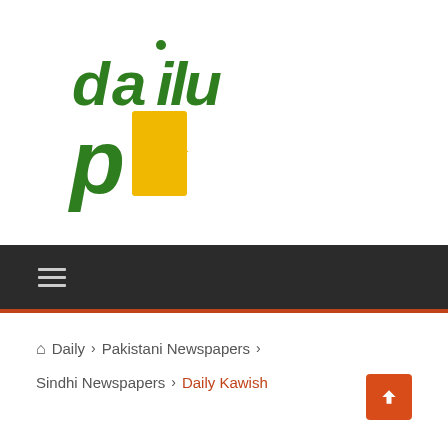[Figure (logo): Daily PK logo — green and yellow stylized letters 'd', 'a', 'i', 'l', 'u' on top and 'p', 'k' below, in dark green and golden yellow colors]
≡
⌂ Daily > Pakistani Newspapers > Sindhi Newspapers > Daily Kawish